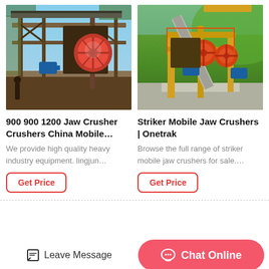[Figure (photo): Industrial jaw crusher installation on elevated steel platform structure with blue motor, red circular flywheel, outdoor setting]
[Figure (photo): Mobile jaw crusher on yellow steel frame with blue motors, orange flywheels, concrete base, hillside outdoor setting]
900 900 1200 Jaw Crusher Crushers China Mobile…
Striker Mobile Jaw Crushers | Onetrak
We provide high quality heavy industry equipment. lingjun…
Browse the full range of striker mobile jaw crushers for sale….
Get Price
Get Price
Leave Message
Chat Online